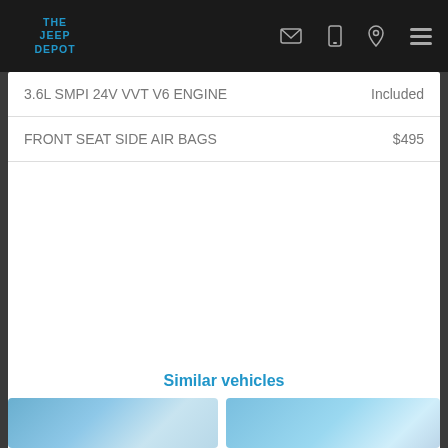THE JEEP DEPOT
| Feature | Price |
| --- | --- |
| 3.6L SMPI 24V VVT V6 ENGINE | Included |
| FRONT SEAT SIDE AIR BAGS | $495 |
Similar vehicles
[Figure (photo): Vehicle thumbnail image 1]
[Figure (photo): Vehicle thumbnail image 2]